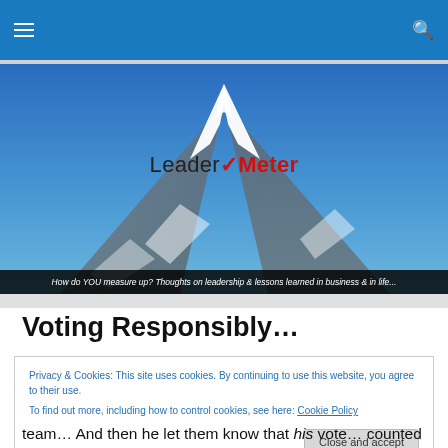LeaderMeter – How do YOU measure up? Thoughts on leadership & lessons learned in business & in life…
[Figure (photo): Mountain peak (Matterhorn) with snow-covered rocky summit against a blue sky, with the LeaderMeter logo and tagline overlay]
Voting Responsibly…
Privacy & Cookies: This site uses cookies. By continuing to use this website, you agree to their use. To find out more, including how to control cookies, see here: Cookie Policy
team… And then he let them know that his vote… counted